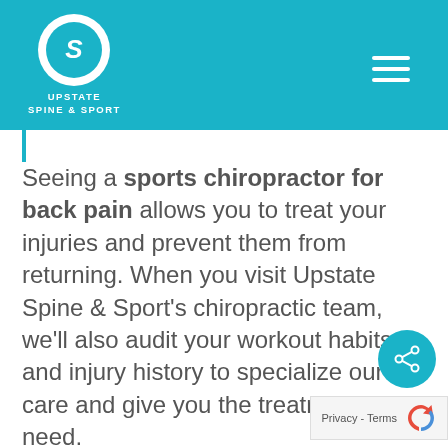[Figure (logo): Upstate Spine & Sport logo: circular emblem with stylized S on teal header background, with text UPSTATE SPINE & SPORT below]
Seeing a sports chiropractor for back pain allows you to treat your injuries and prevent them from returning. When you visit Upstate Spine & Sport’s chiropractic team, we’ll also audit your workout habits and injury history to specialize our care and give you the treatment you need.
Rather than searching for a “sports chiropractor near me” online, contact Upstate Spine & Sport and get the treatment you need to return to your sport at